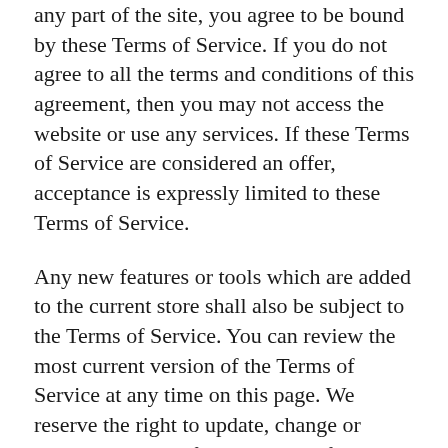any part of the site, you agree to be bound by these Terms of Service. If you do not agree to all the terms and conditions of this agreement, then you may not access the website or use any services. If these Terms of Service are considered an offer, acceptance is expressly limited to these Terms of Service.
Any new features or tools which are added to the current store shall also be subject to the Terms of Service. You can review the most current version of the Terms of Service at any time on this page. We reserve the right to update, change or replace any part of these Terms of Service by posting updates and/or changes to our website. It is your responsibility to check this page periodically for changes. Your continued use of or access to the website following the posting of any changes constitutes acceptance of those changes.